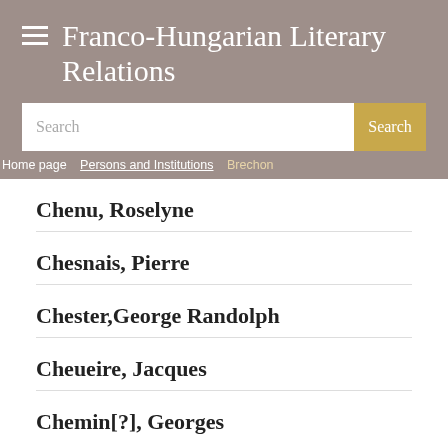Franco-Hungarian Literary Relations
Home page / Persons and Institutions / Brechon
Chenu, Roselyne
Chesnais, Pierre
Chester,George Randolph
Cheueire, Jacques
Chemin[?], Georges